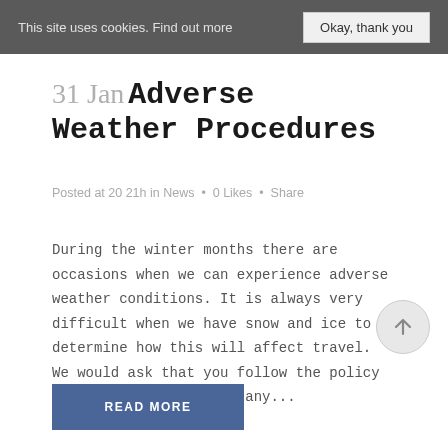This site uses cookies. Find out more   Okay, thank you
31 Jan Adverse Weather Procedures
Posted at 20 21h in News • 0 Likes • Share
During the winter months there are occasions when we can experience adverse weather conditions. It is always very difficult when we have snow and ice to determine how this will affect travel. We would ask that you follow the policy below if we experience any...
READ MORE